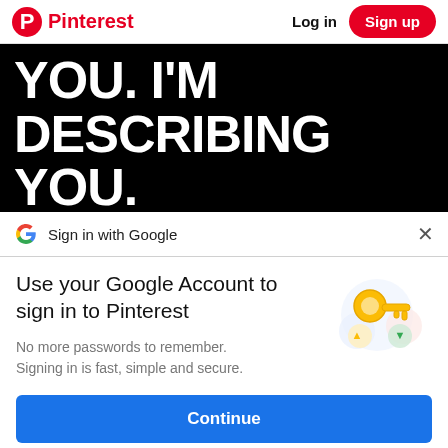Pinterest   Log in   Sign up
[Figure (photo): Black background with large white bold uppercase text reading 'YOU. I'M DESCRIBING YOU.']
Sign in with Google
Use your Google Account to sign in to Pinterest
No more passwords to remember. Signing in is fast, simple and secure.
[Figure (illustration): Google sign-in illustration showing a golden key with colorful circles (blue, yellow, green, red) representing Google account security]
Continue